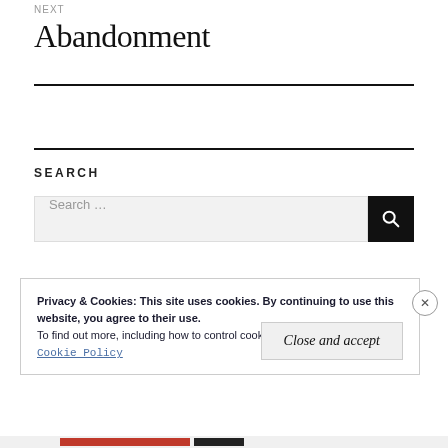NEXT
Abandonment
SEARCH
Search ...
Privacy & Cookies: This site uses cookies. By continuing to use this website, you agree to their use.
To find out more, including how to control cookies, see here:
Cookie Policy
Close and accept